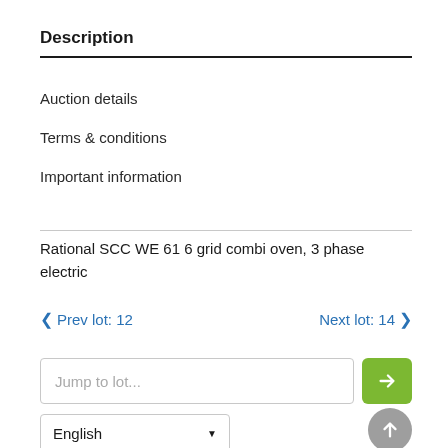Description
Auction details
Terms & conditions
Important information
Rational SCC WE 61 6 grid combi oven, 3 phase electric
< Prev lot: 12    Next lot: 14 >
Jump to lot...
English